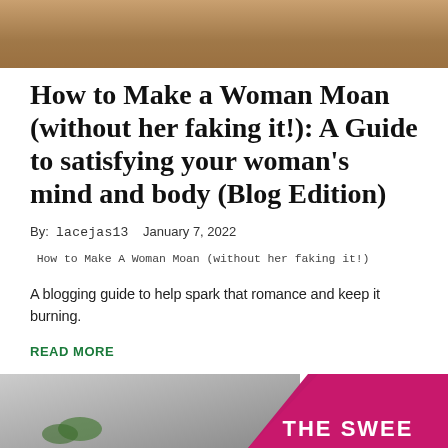[Figure (photo): Top partial photo showing a person, cropped at the top of the page]
How to Make a Woman Moan (without her faking it!): A Guide to satisfying your woman’s mind and body (Blog Edition)
By: lacejas13   January 7, 2022
How to Make A Woman Moan (without her faking it!)
A blogging guide to help spark that romance and keep it burning.
READ MORE
[Figure (photo): Bottom partial photo showing a grayscale image with plants and a pink/magenta diagonal overlay with partial text visible]